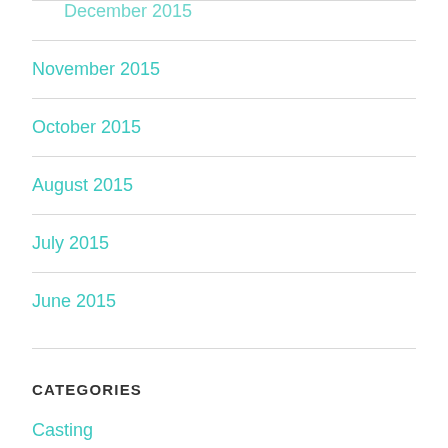December 2015
November 2015
October 2015
August 2015
July 2015
June 2015
CATEGORIES
Casting